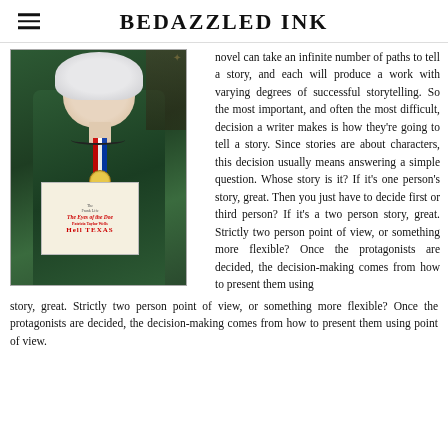BEDAZZLED INK
[Figure (photo): Woman with white hair wearing a green patterned dress with a red-white-blue medal ribbon and gold medal around her neck, holding a book titled 'The Eyes of the Doe' with a Hell TEXAS logo at a formal event]
novel can take an infinite number of paths to tell a story, and each will produce a work with varying degrees of successful storytelling. So the most important, and often the most difficult, decision a writer makes is how they're going to tell a story. Since stories are about characters, this decision usually means answering a simple question. Whose story is it? If it's one person's story, great. Then you just have to decide first or third person? If it's a two person story, great. Strictly two person point of view, or something more flexible? Once the protagonists are decided, the decision-making comes from how to present them using point of view.